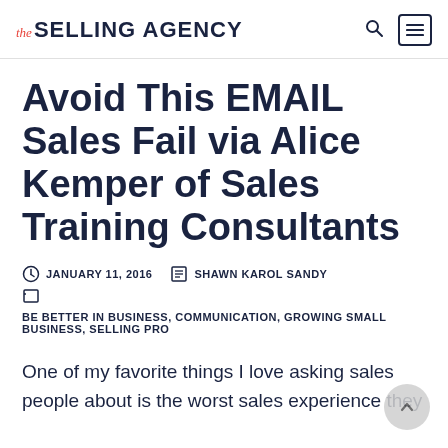the SELLING AGENCY
Avoid This EMAIL Sales Fail via Alice Kemper of Sales Training Consultants
JANUARY 11, 2016  SHAWN KAROL SANDY  BE BETTER IN BUSINESS, COMMUNICATION, GROWING SMALL BUSINESS, SELLING PRO
One of my favorite things I love asking sales people about is the worst sales experience they